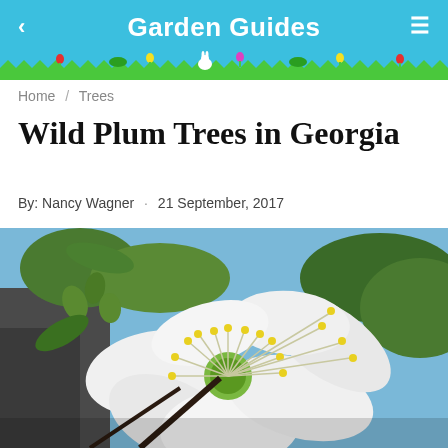Garden Guides
Home / Trees
Wild Plum Trees in Georgia
By: Nancy Wagner · 21 September, 2017
[Figure (photo): Close-up photograph of a wild plum tree blossom with white petals and yellow stamens, green buds visible in background, blue sky behind]